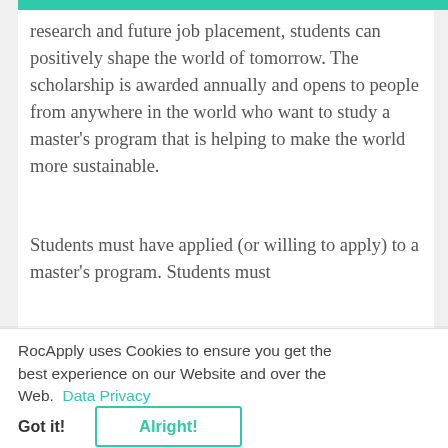research and future job placement, students can positively shape the world of tomorrow. The scholarship is awarded annually and opens to people from anywhere in the world who want to study a master's program that is helping to make the world more sustainable.
Students must have applied (or willing to apply) to a master's program. Students must
RocApply uses Cookies to ensure you get the best experience on our Website and over the Web.  Data Privacy
Got it!
Alright!